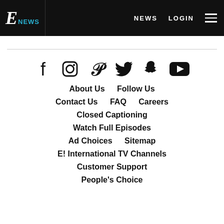E! NEWS  NEWS  LOGIN
[Figure (other): Social media icons row: Facebook, Instagram, Pinterest, Twitter, Snapchat, YouTube]
About Us   Follow Us
Contact Us   FAQ   Careers
Closed Captioning
Watch Full Episodes
Ad Choices   Sitemap
E! International TV Channels
Customer Support
People's Choice